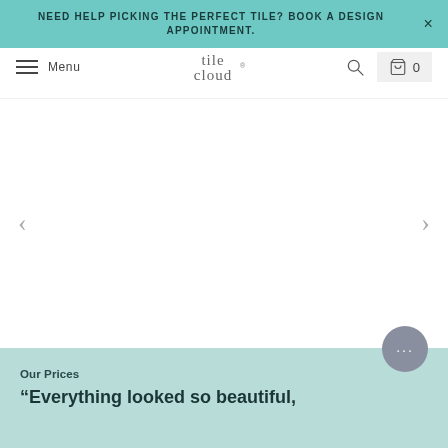NEED HELP PICKING THE PERFECT TILE? BOOK A DESIGN APPOINTMENT.
[Figure (screenshot): Tile Cloud website navigation bar with hamburger menu, Menu text, tile cloud logo, search icon, and cart icon with 0 items]
[Figure (other): Main product image area (blank/white) with left and right navigation arrows for an image carousel]
Our Prices
“Everything looked so beautiful,